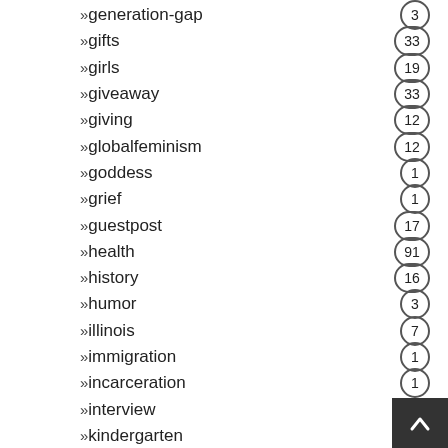»generation-gap 3
»gifts 33
»girls 19
»giveaway 33
»giving 12
»globalfeminism 12
»goddess 1
»grief 1
»guestpost 17
»health 91
»history 16
»humor 3
»illinois 7
»immigration 1
»incarceration 1
»interview 5
»kindergarten 8